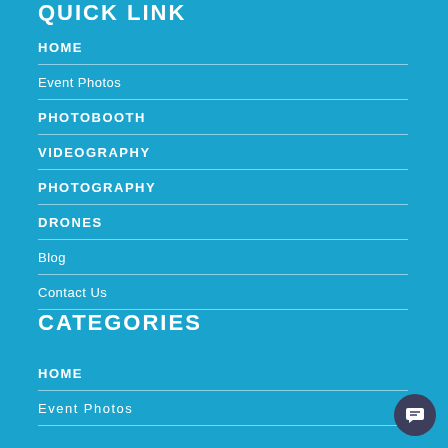QUICK LINK
HOME
Event Photos
PHOTOBOOTH
VIDEOGRAPHY
PHOTOGRAPHY
DRONES
Blog
Contact Us
CATEGORIES
HOME
Event Photos